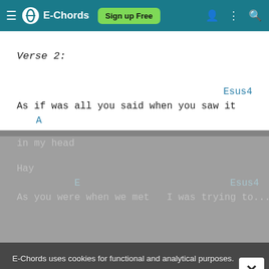E-Chords — Sign up Free
Verse 2:
Esus4
As if was all you said when you saw it
     A
in my head
Hay...                                   ... to...
E                          Esus4
As you were when we met   I was trying to...
E-Chords uses cookies for functional and analytical purposes. Please read our Privacy Policy for more information.